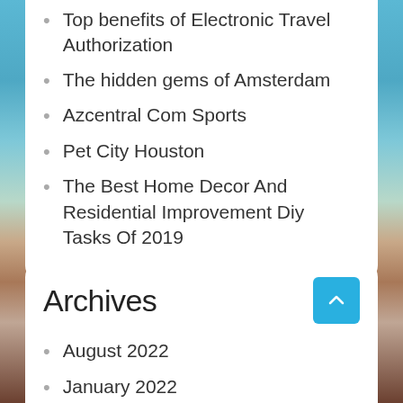Top benefits of Electronic Travel Authorization
The hidden gems of Amsterdam
Azcentral Com Sports
Pet City Houston
The Best Home Decor And Residential Improvement Diy Tasks Of 2019
Archives
August 2022
January 2022
August 2021